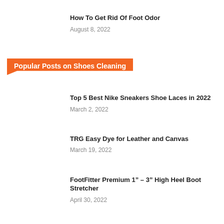How To Get Rid Of Foot Odor
August 8, 2022
Popular Posts on Shoes Cleaning
Top 5 Best Nike Sneakers Shoe Laces in 2022
March 2, 2022
TRG Easy Dye for Leather and Canvas
March 19, 2022
FootFitter Premium 1" – 3" High Heel Boot Stretcher
April 30, 2022